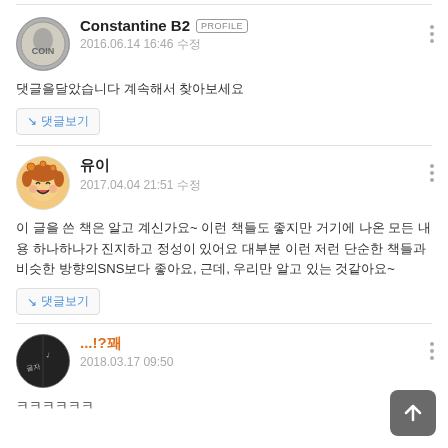Constantine B2 PROFILE 2016.06.14 16:46
댓글을달았습니다 계속해서 찾아보세요
↘ 댓글보기
유이 2017.04.04 21:51
이 글을 쓴 책은 알고 계신가요~ 이런 책들도 좋지만 거기에 나온 모든 내용 하나하나가 진지하고 정성이 있어요 대부분 이런 저런 단순한 책들과 비슷한 방향의SNS보다 좋아요, 근데, 우리만 알고 있는 것같아요~
↘ 댓글보기
...!?꽤 2018.03.17 09:50
ㅋㅋㅋㅋㅋㅋ